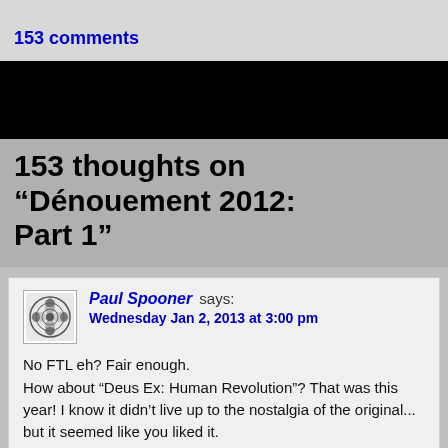153 comments
[Figure (other): Black banner image area]
153 thoughts on “Dénouement 2012: Part 1”
Paul Spooner says: Wednesday Jan 2, 2013 at 3:00 pm

No FTL eh? Fair enough.
How about “Deus Ex: Human Revolution”? That was this year! I know it didn’t live up to the nostalgia of the original... but it seemed like you liked it.